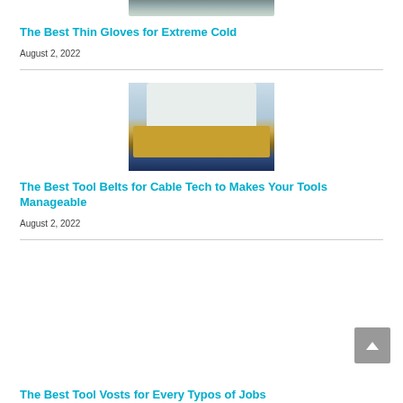[Figure (photo): Partial photo of gloves at the top of the page]
The Best Thin Gloves for Extreme Cold
August 2, 2022
[Figure (photo): Photo of a person wearing a tool belt and holding a tablet, in a kitchen or work area]
The Best Tool Belts for Cable Tech to Makes Your Tools Manageable
August 2, 2022
The Best Tool Vests for Every Typos of Jobs